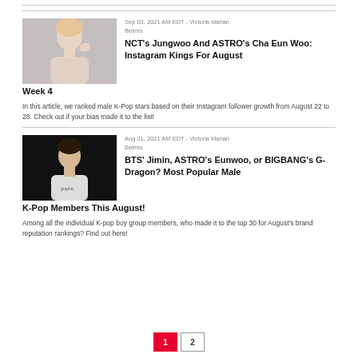[Figure (photo): Young male K-pop artist with pink/blonde hair posing against a light grey background]
Sep 03, 2021 AM EDT - Victoria Marian Belmis
NCT's Jungwoo And ASTRO's Cha Eun Woo: Instagram Kings For August Week 4
In this article, we ranked male K-Pop stars based on their Instagram follower growth from August 22 to 28. Check out if your bias made it to the list!
[Figure (photo): Young male K-pop artist wearing a white graphic t-shirt against a dark background]
Aug 21, 2021 AM EDT - Victoria Marian Belmis
BTS' Jimin, ASTRO's Eunwoo, or BIGBANG's G-Dragon? Most Popular Male K-Pop Members This August!
Among all the individual K-pop boy group members, who made it to the top 30 for August's brand reputation rankings? Find out here!